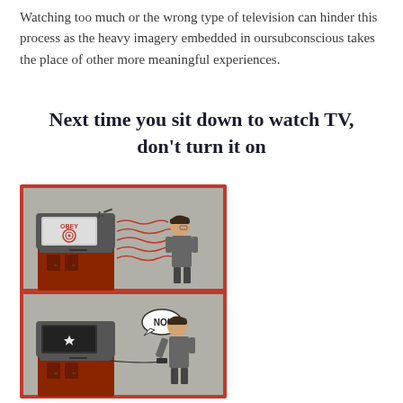Watching too much or the wrong type of television can hinder this process as the heavy imagery embedded in oursubconscious takes the place of other more meaningful experiences.
Next time you sit down to watch TV, don't turn it on
[Figure (illustration): Two-panel comic strip: Top panel shows a vintage TV set on a cabinet with 'OBEY' and a spiral on the screen, emitting wavy signal lines toward a person standing and watching. Bottom panel shows the same TV set (now dark/off with a star/reflection), the same person holding a remote and saying 'NO!' in a speech bubble.]